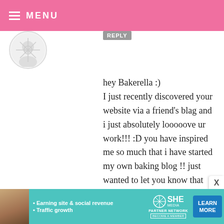MENU
REPLY
hey Bakerella :)
I just recently discovered your website via a friend's blag and i just absolutely looooove ur work!!! :D you have inspired me so much that i have started my own baking blog !! just wanted to let you know that your admired and i look upto you in all my baking endaveours :)
I just tried making something from your website ...id luv it if you cud give
[Figure (infographic): Advertisement banner for SHE Partner Network with teal background, photo of a woman, bullet points about earning site & social revenue and traffic growth, SHE logo, and a Learn More button]